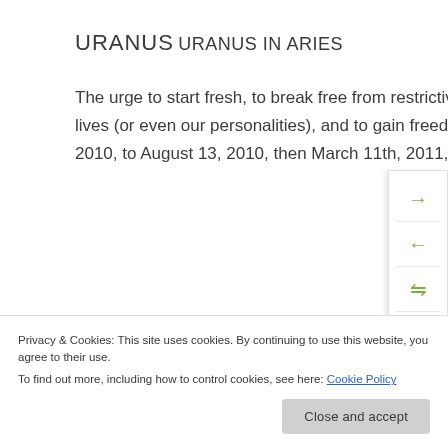URANUS
URANUS IN ARIES
The urge to start fresh, to break free from restrictive attitudes or circumstances, to totally redesign an area of our lives (or even our personalities), and to gain freedom through independence is strong during this cycle. (May 27, 2010, to August 13, 2010, then March 11th, 2011, to May 15, 2018, then November 6, 2018, to March 6, 2019).
Privacy & Cookies: This site uses cookies. By continuing to use this website, you agree to their use.
To find out more, including how to control cookies, see here: Cookie Policy